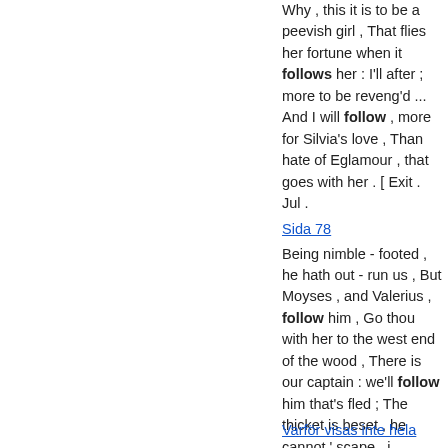Why , this it is to be a peevish girl , That flies her fortune when it follows her : I'll after ; more to be reveng'd ... And I will follow , more for Silvia's love , Than hate of Eglamour , that goes with her . [ Exit . Jul .
Sida 78
Being nimble - footed , he hath out - run us , But Moyses , and Valerius , follow him , Go thou with her to the west end of the wood , There is our captain : we'll follow him that's fled ; The thicket is beset , he cannot ' scape . i ...
Nästa »
Varför visas inte hela